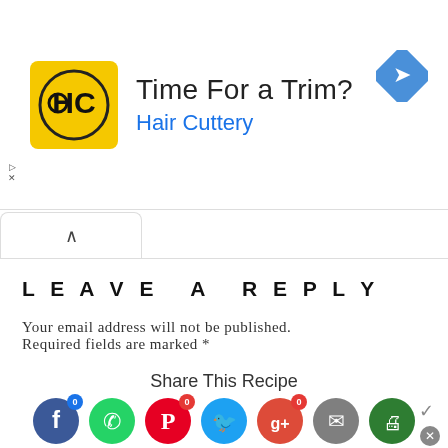[Figure (infographic): Hair Cuttery advertisement banner with yellow logo, text 'Time For a Trim?' and 'Hair Cuttery' in blue, and a blue diamond arrow icon on the right]
LEAVE A REPLY
Your email address will not be published. Required fields are marked *
Comment
[Figure (infographic): Share This Recipe section with social media icons: Facebook (blue), WhatsApp (green), Pinterest (red), Twitter (cyan), Google+ (red), Email (gray), Print (green)]